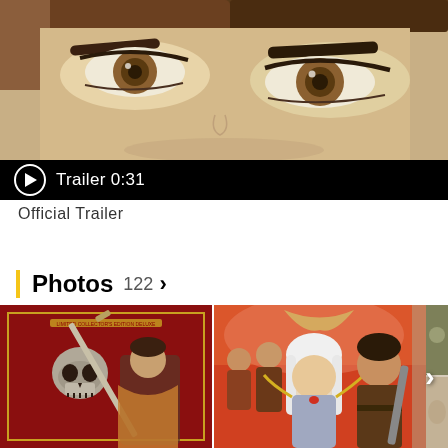[Figure (screenshot): Anime close-up of character eyes with video player bar showing play button and 'Trailer 0:31' text on black bar at bottom]
Official Trailer
Photos 122 >
[Figure (photo): Three anime/manga photos in horizontal strip: first shows Limited Collector's Edition Deluxe DVD cover with skull and sword, second shows group of anime characters with white-haired female lead, third is partially visible with navigation arrow]